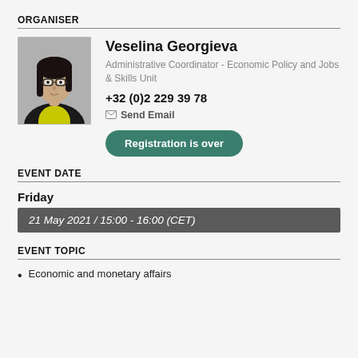ORGANISER
[Figure (photo): Photo of Veselina Georgieva, a woman with dark hair and glasses, wearing a black jacket and yellow top.]
Veselina Georgieva
Administrative Coordinator - Economic Policy and Jobs & Skills Unit
+32 (0)2 229 39 78
Send Email
Registration is over
EVENT DATE
Friday
21 May 2021 / 15:00 - 16:00 (CET)
EVENT TOPIC
Economic and monetary affairs